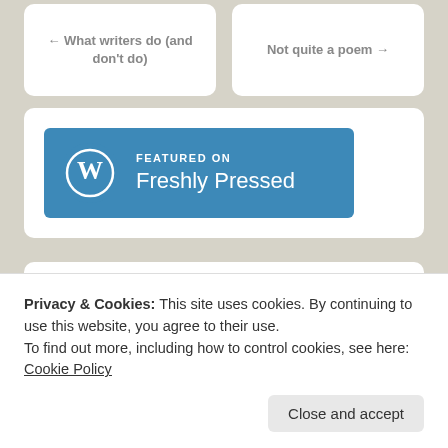← What writers do (and don't do)
Not quite a poem →
[Figure (logo): WordPress 'Featured on Freshly Pressed' banner badge with WordPress logo and blue background]
CONNECT
[Figure (illustration): Row of social media icons: Twitter, Facebook, Tumblr, Pinterest, Instagram, LinkedIn, Google+]
Privacy & Cookies: This site uses cookies. By continuing to use this website, you agree to their use.
To find out more, including how to control cookies, see here: Cookie Policy
Close and accept